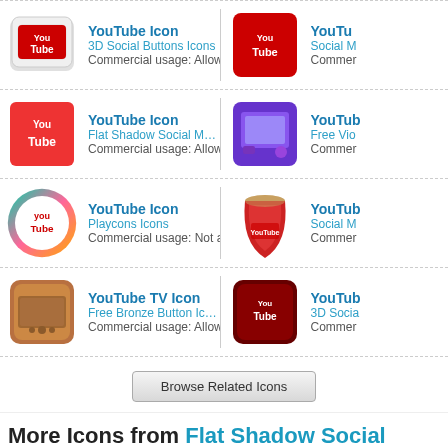YouTube Icon | 3D Social Buttons Icons | Commercial usage: Allowed
YouTube Icon | Social M... | Commer...
YouTube Icon | Flat Shadow Social Media Icons | Commercial usage: Allowed
YouTube Icon | Free Vio... | Commer...
YouTube Icon | Playcons Icons | Commercial usage: Not allowed
YouTube Icon | Social M... | Commer...
YouTube TV Icon | Free Bronze Button Icons | Commercial usage: Allowed
YouTube Icon | 3D Socia... | Commer...
Browse Related Icons
More Icons from Flat Shadow Social Media Icons
Orkut Icon | Download Windows icon | Download PNG files
Apple Ic... | Download...